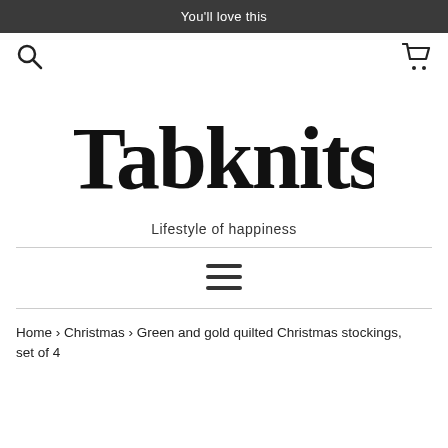You'll love this
[Figure (logo): Tabknits handwritten script logo with search icon and cart icon in navigation bar]
Lifestyle of happiness
Home › Christmas › Green and gold quilted Christmas stockings, set of 4